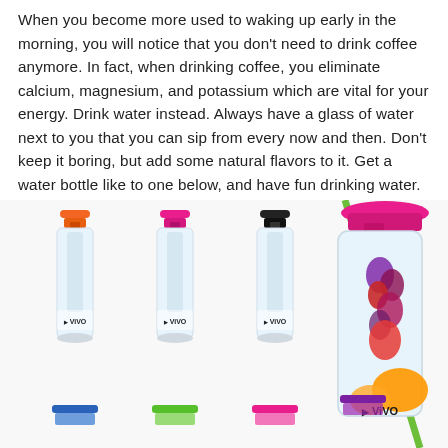When you become more used to waking up early in the morning, you will notice that you don't need to drink coffee anymore. In fact, when drinking coffee, you eliminate calcium, magnesium, and potassium which are vital for your energy. Drink water instead. Always have a glass of water next to you that you can sip from every now and then. Don't keep it boring, but add some natural flavors to it. Get a water bottle like to one below, and have fun drinking water.
[Figure (photo): Photo of multiple VIVO brand fruit infuser water bottles in various colors (orange, pink, black, blue, green, hot pink, purple) shown full-length, plus a close-up of a pink VIVO bottle filled with fruit (berries and citrus), with a green straw visible. The VIVO logo appears on each bottle.]